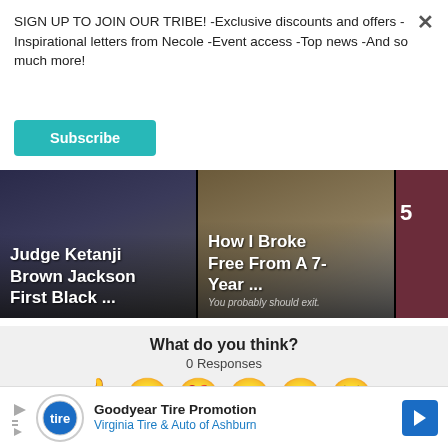SIGN UP TO JOIN OUR TRIBE! -Exclusive discounts and offers -Inspirational letters from Necole -Event access -Top news -And so much more!
Subscribe
[Figure (photo): News thumbnail: Judge Ketanji Brown Jackson First Black ...]
[Figure (photo): News thumbnail: How I Broke Free From A 7-Year ...]
[Figure (photo): Partially visible news thumbnail, truncated on right edge]
What do you think?
0 Responses
[Figure (infographic): Row of 6 emoji reaction icons: thumbs up, laughing with tongue, heart eyes, surprised, sad/sick, crying sad face]
[Figure (infographic): Advertisement banner: Goodyear Tire Promotion - Virginia Tire & Auto of Ashburn]